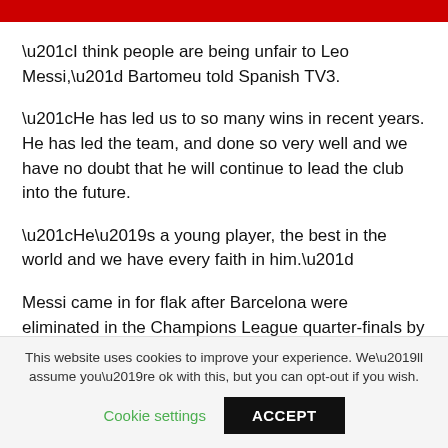“I think people are being unfair to Leo Messi,” Bartomeu told Spanish TV3.
“He has led us to so many wins in recent years. He has led the team, and done so very well and we have no doubt that he will continue to lead the club into the future.
“He’s a young player, the best in the world and we have every faith in him.”
Messi came in for flak after Barcelona were eliminated in the Champions League quarter-finals by Atletico Madrid, lost 1-0 to Getafe and then slipped to a 2-1 defeat to Real
This website uses cookies to improve your experience. We’ll assume you’re ok with this, but you can opt-out if you wish.
Cookie settings   ACCEPT